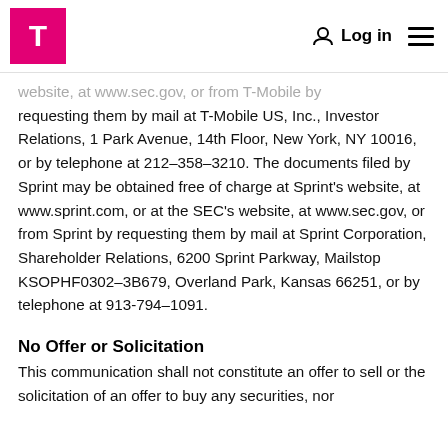T-Mobile logo | Log in | Menu
website, at www.sec.gov, or from T-Mobile by requesting them by mail at T-Mobile US, Inc., Investor Relations, 1 Park Avenue, 14th Floor, New York, NY 10016, or by telephone at 212-358-3210. The documents filed by Sprint may be obtained free of charge at Sprint's website, at www.sprint.com, or at the SEC's website, at www.sec.gov, or from Sprint by requesting them by mail at Sprint Corporation, Shareholder Relations, 6200 Sprint Parkway, Mailstop KSOPHF0302-3B679, Overland Park, Kansas 66251, or by telephone at 913-794-1091.
No Offer or Solicitation
This communication shall not constitute an offer to sell or the solicitation of an offer to buy any securities, nor